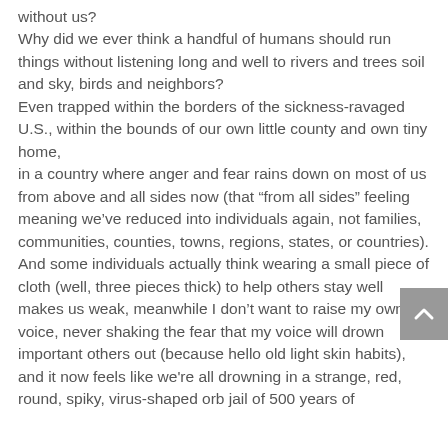without us? Why did we ever think a handful of humans should run things without listening long and well to rivers and trees soil and sky, birds and neighbors? Even trapped within the borders of the sickness-ravaged U.S., within the bounds of our own little county and own tiny home, in a country where anger and fear rains down on most of us from above and all sides now (that “from all sides” feeling meaning we’ve reduced into individuals again, not families, communities, counties, towns, regions, states, or countries). And some individuals actually think wearing a small piece of cloth (well, three pieces thick) to help others stay well makes us weak, meanwhile I don’t want to raise my own voice, never shaking the fear that my voice will drown important others out (because hello old light skin habits), and it now feels like we're all drowning in a strange, red, round, spiky, virus-shaped orb jail of 500 years of